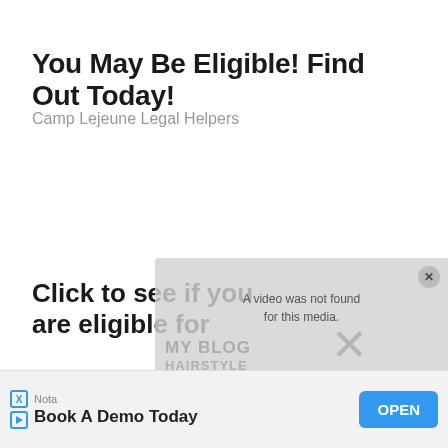You May Be Eligible! Find Out Today!
Camp Lejeune Legal Helpers
Click to see if you are eligible for
[Figure (screenshot): Ad overlay showing 'A video was not found for this media.' message with close button]
Nota
Book A Demo Today
OPEN